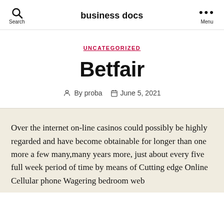business docs
UNCATEGORIZED
Betfair
By proba   June 5, 2021
Over the internet on-line casinos could possibly be highly regarded and have become obtainable for longer than one more a few many,many years more, just about every five full week period of time by means of Cutting edge Online Cellular phone Wagering bedroom web